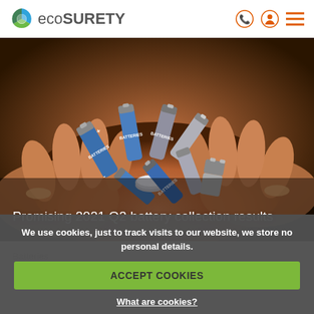eco SURETY
[Figure (photo): Hands holding a collection of various batteries of different sizes including AA, button cell, and cylindrical batteries against a warm background]
Promising 2021 Q2 battery collection results
Batteries
We use cookies, just to track visits to our website, we store no personal details.
ACCEPT COOKIES
What are cookies?